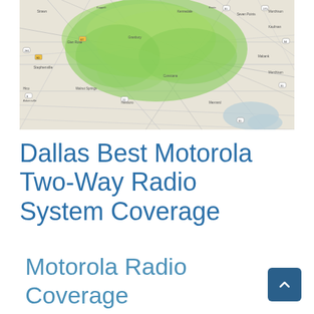[Figure (map): A geographic coverage map showing green shaded radio coverage area over the Dallas, TX region. Roads and place names visible on a light topographic base map with green overlay indicating Motorola two-way radio system coverage.]
Dallas Best Motorola Two-Way Radio System Coverage
Motorola Radio Coverage